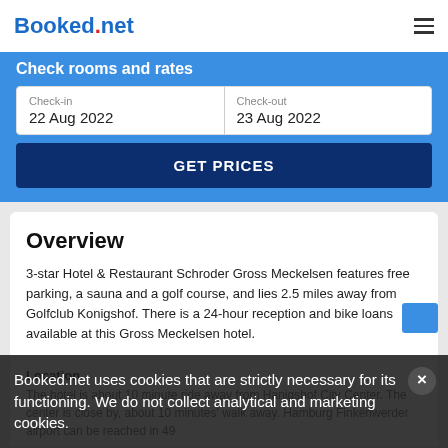Booked.net
Check rooms and rates
Check-in 22 Aug 2022
Check-out 23 Aug 2022
GET PRICES
Overview
3-star Hotel & Restaurant Schroder Gross Meckelsen features free parking, a sauna and a golf course, and lies 2.5 miles away from Golfclub Konigshof. There is a 24-hour reception and bike loans available at this Gross Meckelsen hotel.
Location
The hotel is about 10 minutes ride away from Hanigshof City Center. The center is close by, about 10 minutes' walk away. Hamburg Finkenwerder airport can be reached in 49
Booked.net uses cookies that are strictly necessary for its functioning. We do not collect analytical and marketing cookies.